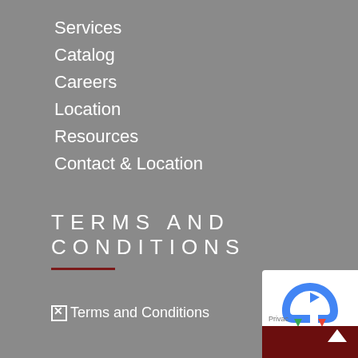Services
Catalog
Careers
Location
Resources
Contact & Location
TERMS AND CONDITIONS
Terms and Conditions